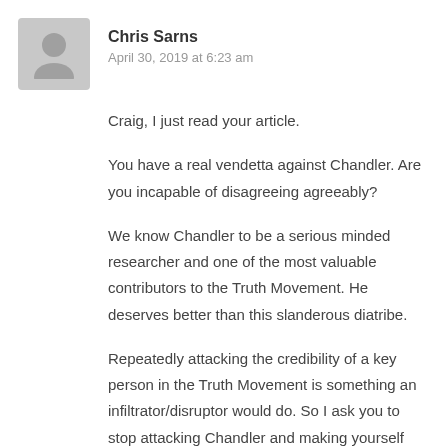[Figure (illustration): Grey placeholder avatar silhouette icon]
Chris Sarns
April 30, 2019 at 6:23 am
Craig, I just read your article.
You have a real vendetta against Chandler. Are you incapable of disagreeing agreeably?
We know Chandler to be a serious minded researcher and one of the most valuable contributors to the Truth Movement. He deserves better than this slanderous diatribe.
Repeatedly attacking the credibility of a key person in the Truth Movement is something an infiltrator/disruptor would do. So I ask you to stop attacking Chandler and making yourself appear to